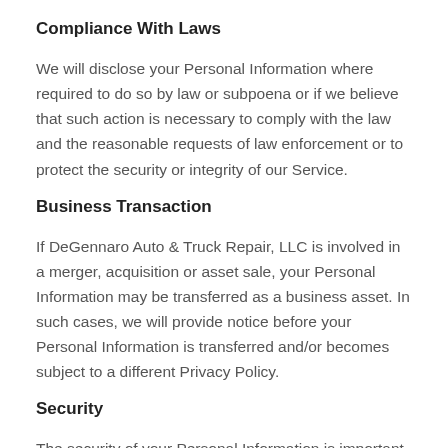Compliance With Laws
We will disclose your Personal Information where required to do so by law or subpoena or if we believe that such action is necessary to comply with the law and the reasonable requests of law enforcement or to protect the security or integrity of our Service.
Business Transaction
If DeGennaro Auto & Truck Repair, LLC is involved in a merger, acquisition or asset sale, your Personal Information may be transferred as a business asset. In such cases, we will provide notice before your Personal Information is transferred and/or becomes subject to a different Privacy Policy.
Security
The security of your Personal Information is important to us and we strive to implement and maintain reasonable, commercially acceptable security procedures and practices appropriate to the nature of the information we store, in order to protect it from unauthorized access, destruction, use, modification, or disclosure.